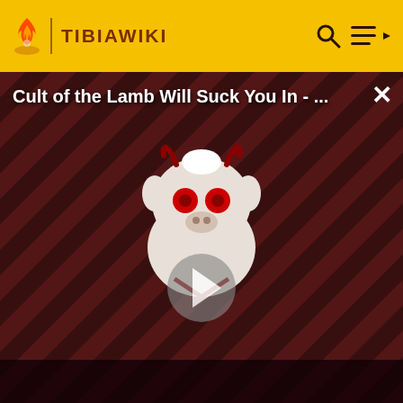TIBIAWIKI
[Figure (screenshot): Video overlay showing 'Cult of the Lamb Will Suck You In - ...' with a play button, diagonal red/dark stripe background, and THE LOOP branding at the bottom. Timer shows NaN:NaN.]
Ultimate Healt'
Demo Essence
Great Spi' Potion
Blue Gem